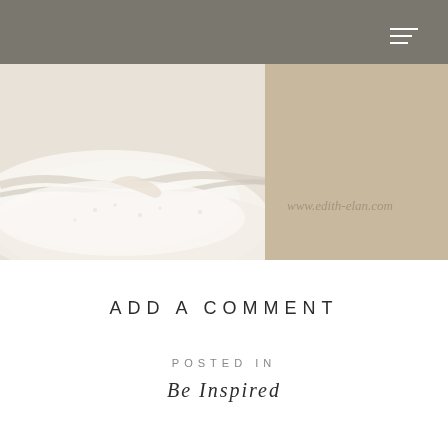[Figure (photo): Close-up photo of a white lace/ruffled dress or skirt fabric against a warm beige/taupe background. A watermark reads 'www.edith-elan.com'. The top portion has a grey overlaid navigation bar area.]
ADD A COMMENT
POSTED IN
Be Inspired